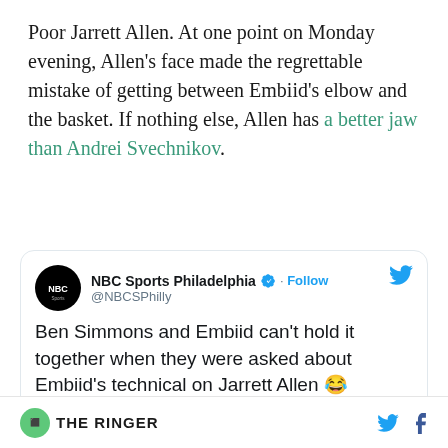Poor Jarrett Allen. At one point on Monday evening, Allen’s face made the regrettable mistake of getting between Embiid’s elbow and the basket. If nothing else, Allen has a better jaw than Andrei Svechnikov.
[Figure (screenshot): Embedded tweet from NBC Sports Philadelphia (@NBCSPhilly) with verified badge and Follow button. Tweet text: 'Ben Simmons and Embiid can't hold it together when they were asked about Embiid's technical on Jarrett Allen 😂'. Partial video thumbnail visible at bottom showing Embiid branding.]
THE RINGER